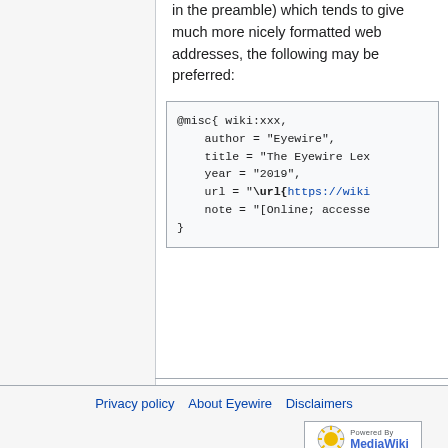in the preamble) which tends to give much more nicely formatted web addresses, the following may be preferred:
[Figure (other): Code block showing BibTeX @misc entry with fields: author = "Eyewire", title = "The Eyewire Lex...", year = "2019", url = "\url{https://wiki...", note = "[Online; accesse..."]
Privacy policy   About Eyewire   Disclaimers